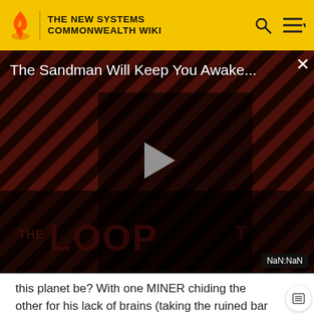THE NEW SYSTEMS COMMONWEALTH WIKI
[Figure (screenshot): Video player thumbnail showing 'The Sandman Will Keep You Awake...' with a dark-clad figure on a red and black diagonal stripe background. THE LOOP logo visible at bottom. Play button in center. NaN:NaN timer shown bottom right. Close (X) button top right.]
this planet be? With one MINER chiding the other for his lack of brains (taking the ruined bar instead of the cash), DYLAN and the others exit.